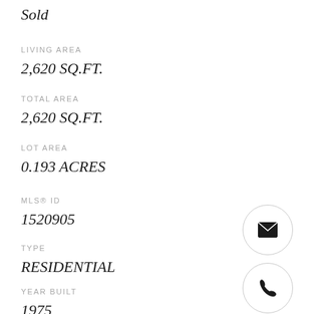Sold
LIVING AREA
2,620 SQ.FT.
TOTAL AREA
2,620 SQ.FT.
LOT AREA
0.193 ACRES
MLS® ID
1520905
TYPE
RESIDENTIAL
YEAR BUILT
1975
[Figure (illustration): Email envelope icon in a circle]
[Figure (illustration): Phone handset icon in a circle]